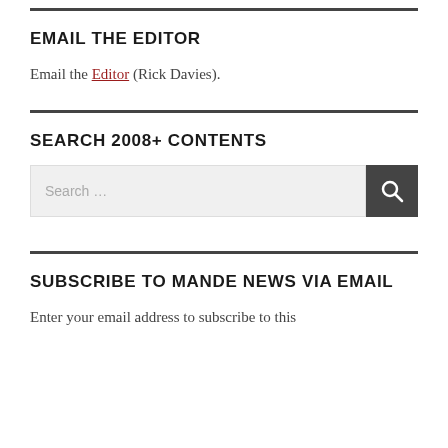EMAIL THE EDITOR
Email the Editor (Rick Davies).
SEARCH 2008+ CONTENTS
[Figure (other): Search bar with text input field showing placeholder 'Search ...' and a dark search button with magnifying glass icon]
SUBSCRIBE TO MANDE NEWS VIA EMAIL
Enter your email address to subscribe to this